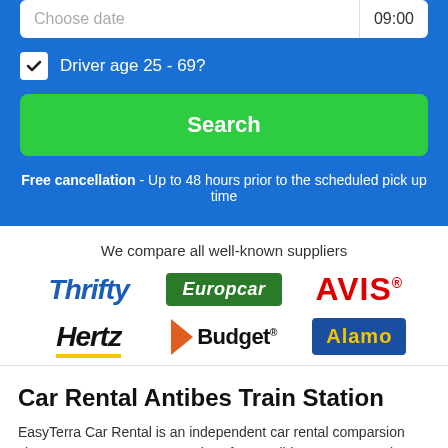Choose date | 09:00
Driver age 25 - 69?
Search
Free cancellation - Up to 48 hours prior to the scheduled pick up time
We compare all well-known suppliers
[Figure (logo): Thrifty car rental logo - blue italic bold text]
[Figure (logo): Europcar logo - white italic text on green background]
[Figure (logo): AVIS logo - red bold text]
[Figure (logo): Hertz logo - black bold italic text with yellow underline]
[Figure (logo): Budget logo - orange arrow with black text]
[Figure (logo): Alamo logo - yellow text on blue background with blue border]
Car Rental Antibes Train Station
EasyTerra Car Rental is an independent car rental comparsion site. Our system compares prices from well-known car rental